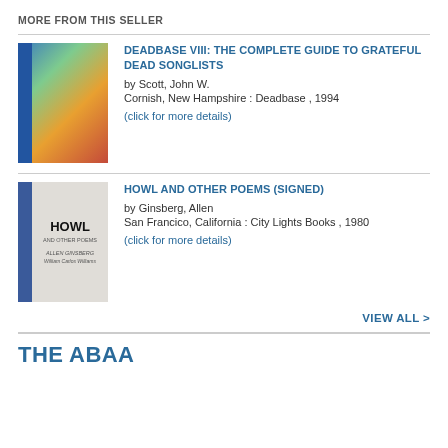MORE FROM THIS SELLER
DEADBASE VIII: THE COMPLETE GUIDE TO GRATEFUL DEAD SONGLISTS
by Scott, John W.
Cornish, New Hampshire : Deadbase , 1994
(click for more details)
HOWL AND OTHER POEMS (SIGNED)
by Ginsberg, Allen
San Francico, California : City Lights Books , 1980
(click for more details)
VIEW ALL >
THE ABAA